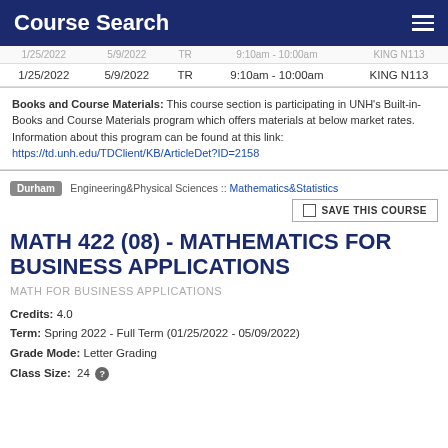Course Search
| Start | End | Days | Time | Location |
| --- | --- | --- | --- | --- |
| 1/25/2022 | 5/9/2022 | TR | 9:10am - 10:00am | KING N113 |
Books and Course Materials: This course section is participating in UNH's Built-in-Books and Course Materials program which offers materials at below market rates. Information about this program can be found at this link: https://td.unh.edu/TDClient/KB/ArticleDet?ID=2158
Durham | Engineering&Physical Sciences :: Mathematics&Statistics
SAVE THIS COURSE
MATH 422 (08) - MATHEMATICS FOR BUSINESS APPLICATIONS
MATH FOR BUSINESS APPLICATIONS
Credits: 4.0
Term: Spring 2022 - Full Term (01/25/2022 - 05/09/2022)
Grade Mode: Letter Grading
Class Size: 24